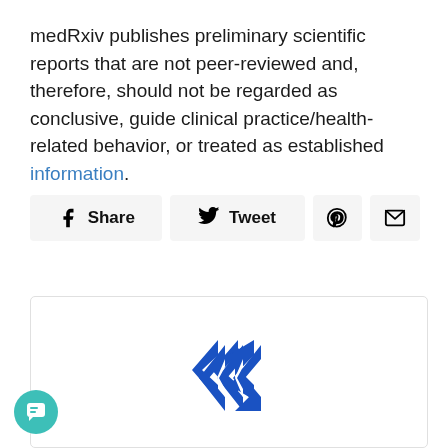medRxiv publishes preliminary scientific reports that are not peer-reviewed and, therefore, should not be regarded as conclusive, guide clinical practice/health-related behavior, or treated as established information.
[Figure (other): Social sharing buttons row: Facebook Share, Twitter Tweet, Pinterest icon, Email icon]
[Figure (logo): Medical Finance logo — blue angular diamond/arrow shape above text 'Medical Finance' in blue bold font, with a globe icon below]